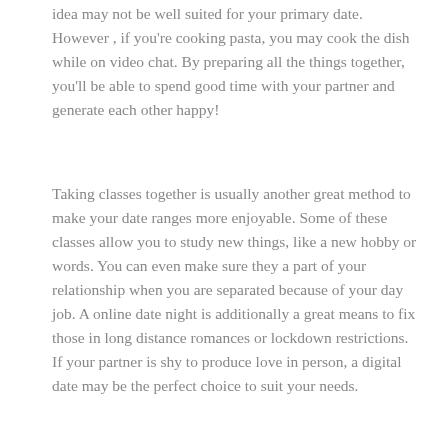idea may not be well suited for your primary date. However , if you're cooking pasta, you may cook the dish while on video chat. By preparing all the things together, you'll be able to spend good time with your partner and generate each other happy!
Taking classes together is usually another great method to make your date ranges more enjoyable. Some of these classes allow you to study new things, like a new hobby or words. You can even make sure they a part of your relationship when you are separated because of your day job. A online date night is additionally a great means to fix those in long distance romances or lockdown restrictions. If your partner is shy to produce love in person, a digital date may be the perfect choice to suit your needs.